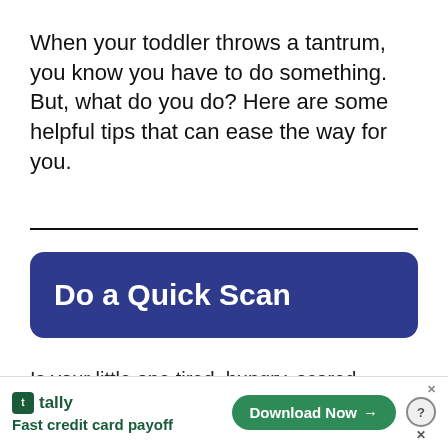When your toddler throws a tantrum, you know you have to do something. But, what do you do? Here are some helpful tips that can ease the way for you.
[Figure (other): A dark blue rounded rectangle button with bold white text reading 'Do a Quick Scan']
Is your little one tired, hungry, scared,
[Figure (other): Advertisement banner: Tally app - Fast credit card payoff, with a green Download Now button and close/help icons]